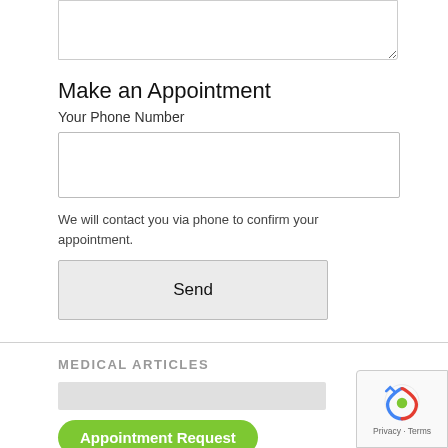[Figure (screenshot): Text area input box (partially visible at top of page)]
Make an Appointment
Your Phone Number
[Figure (screenshot): Phone number input text box]
We will contact you via phone to confirm your appointment.
[Figure (screenshot): Send button]
MEDICAL ARTICLES
[Figure (screenshot): Search bar (gray)]
[Figure (screenshot): Appointment Request green pill button]
Bahasa (1)
[Figure (screenshot): reCAPTCHA privacy badge in bottom right corner]